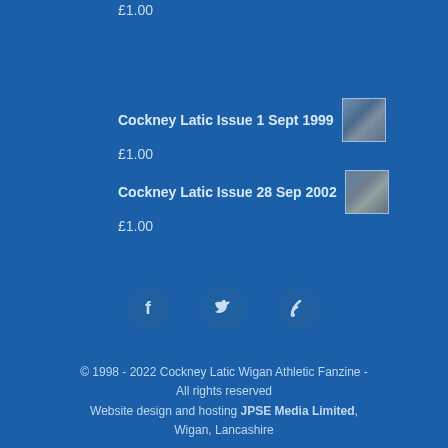£1.00
Cockney Latic Issue 1 Sept 1999
£1.00
Cockney Latic Issue 28 Sep 2002
£1.00
[Figure (illustration): Social media icons: Facebook, Twitter, RSS feed]
© 1998 - 2022 Cockney Latic Wigan Athletic Fanzine - All rights reserved
Website design and hosting JPSE Media Limited, Wigan, Lancashire